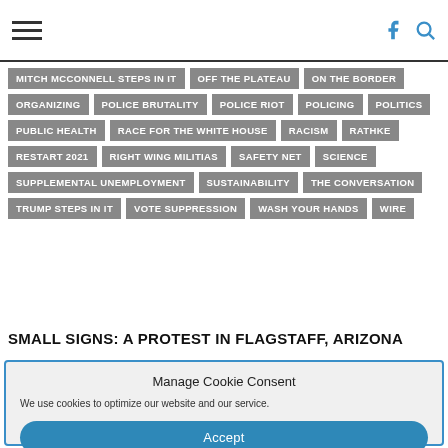Navigation bar with hamburger menu and search/facebook icons
MITCH MCCONNELL STEPS IN IT
OFF THE PLATEAU
ON THE BORDER
ORGANIZING
POLICE BRUTALITY
POLICE RIOT
POLICING
POLITICS
PUBLIC HEALTH
RACE FOR THE WHITE HOUSE
RACISM
RATHKE
RESTART 2021
RIGHT WING MILITIAS
SAFETY NET
SCIENCE
SUPPLEMENTAL UNEMPLOYMENT
SUSTAINABILITY
THE CONVERSATION
TRUMP STEPS IN IT
VOTE SUPPRESSION
WASH YOUR HANDS
WIRE
SMALL SIGNS: A PROTEST IN FLAGSTAFF, ARIZONA
Manage Cookie Consent
We use cookies to optimize our website and our service.
Accept